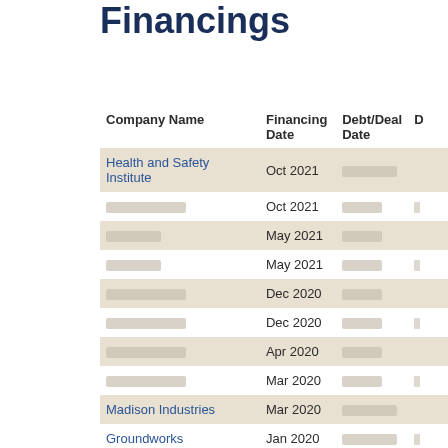Financings
| Company Name | Financing Date | Debt/Deal Date | D |
| --- | --- | --- | --- |
| Health and Safety Institute | Oct 2021 | [redacted] |  |
| [redacted] | Oct 2021 | [redacted] |  |
| [redacted] | May 2021 | [redacted] |  |
| [redacted] | May 2021 | [redacted] |  |
| [redacted] | Dec 2020 | [redacted] |  |
| [redacted] | Dec 2020 | [redacted] |  |
| [redacted] | Apr 2020 | [redacted] |  |
| [redacted] | Mar 2020 | [redacted] |  |
| Madison Industries | Mar 2020 | [redacted] |  |
| Groundworks | Jan 2020 | [redacted] |  |